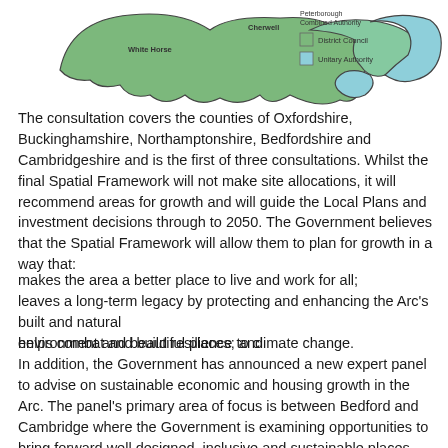[Figure (map): Map of the Oxford-Cambridge Arc region showing district councils (green) and unitary authorities (blue/teal), including areas labeled White Horse, Cherwell, and Peterborough Combined Authority, with a legend in the top right.]
The consultation covers the counties of Oxfordshire, Buckinghamshire, Northamptonshire, Bedfordshire and Cambridgeshire and is the first of three consultations. Whilst the final Spatial Framework will not make site allocations, it will recommend areas for growth and will guide the Local Plans and investment decisions through to 2050. The Government believes that the Spatial Framework will allow them to plan for growth in a way that:
makes the area a better place to live and work for all;
leaves a long-term legacy by protecting and enhancing the Arc's built and natural environment and beautiful places; and
helps combat and build resilience to climate change.
In addition, the Government has announced a new expert panel to advise on sustainable economic and housing growth in the Arc. The panel's primary area of focus is between Bedford and Cambridge where the Government is examining opportunities to bring forward well designed, inclusive and sustainable places.
It is important to make your voice heard in the preparation of the Spatial Framework, as it will guide many planning decisions over the next 20 years, even with changes in central and local Government